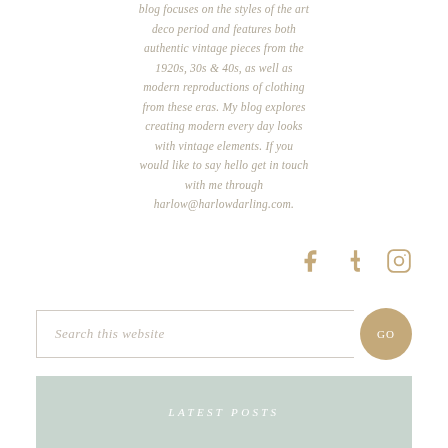blog focuses on the styles of the art deco period and features both authentic vintage pieces from the 1920s, 30s & 40s, as well as modern reproductions of clothing from these eras. My blog explores creating modern every day looks with vintage elements. If you would like to say hello get in touch with me through harlow@harlowdarling.com.
[Figure (infographic): Social media icons: Facebook (f), Tumblr (t), and Instagram camera icon, displayed in gold/tan color]
Search this website
LATEST POSTS